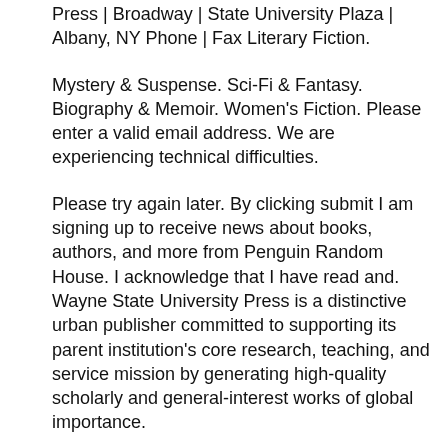Press | Broadway | State University Plaza | Albany, NY Phone | Fax Literary Fiction.
Mystery & Suspense. Sci-Fi & Fantasy. Biography & Memoir. Women's Fiction. Please enter a valid email address. We are experiencing technical difficulties.
Please try again later. By clicking submit I am signing up to receive news about books, authors, and more from Penguin Random House. I acknowledge that I have read and. Wayne State University Press is a distinctive urban publisher committed to supporting its parent institution's core research, teaching, and service mission by generating high-quality scholarly and general-interest works of global importance.
Little Simon's Classic Board Book collection features timeless favorites perfectly designed for the youngest of readers, such as Cloudy with a Chance of Meatballs, We're Going on a Bear Hunt, and Little Quack. Our original chapter book line includes homegrown series such as Heidi Heckelbeck, Captain Awesome, Galaxy Zack, and The Critter Club.